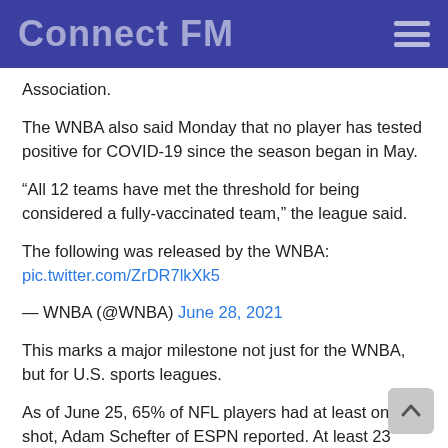Connect FM
Association.
The WNBA also said Monday that no player has tested positive for COVID-19 since the season began in May.
“All 12 teams have met the threshold for being considered a fully-vaccinated team,” the league said.
The following was released by the WNBA:
pic.twitter.com/ZrDR7lkXk5
— WNBA (@WNBA) June 28, 2021
This marks a major milestone not just for the WNBA, but for U.S. sports leagues.
As of June 25, 65% of NFL players had at least one shot, Adam Schefter of ESPN reported. At least 23 MLB teams have reached 85% vaccinated, according to The Associated Press.